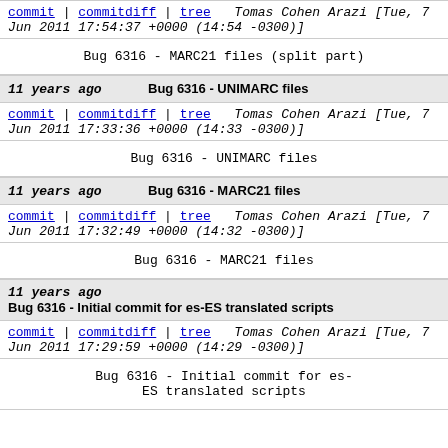commit | commitdiff | tree   Tomas Cohen Arazi [Tue, 7 Jun 2011 17:54:37 +0000 (14:54 -0300)]
Bug 6316 - MARC21 files (split part)
11 years ago   Bug 6316 - UNIMARC files
commit | commitdiff | tree   Tomas Cohen Arazi [Tue, 7 Jun 2011 17:33:36 +0000 (14:33 -0300)]
Bug 6316 - UNIMARC files
11 years ago   Bug 6316 - MARC21 files
commit | commitdiff | tree   Tomas Cohen Arazi [Tue, 7 Jun 2011 17:32:49 +0000 (14:32 -0300)]
Bug 6316 - MARC21 files
11 years ago   Bug 6316 - Initial commit for es-ES translated scripts
commit | commitdiff | tree   Tomas Cohen Arazi [Tue, 7 Jun 2011 17:29:59 +0000 (14:29 -0300)]
Bug 6316 - Initial commit for es-ES translated scripts